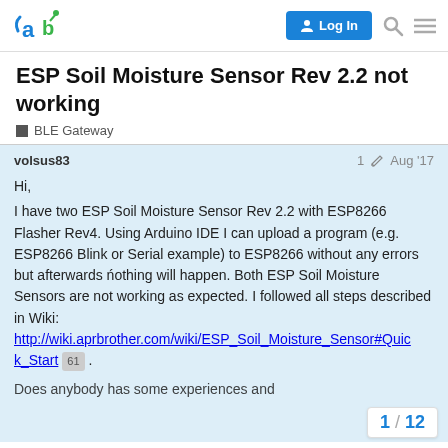aprbrother forum - Log In
ESP Soil Moisture Sensor Rev 2.2 not working
BLE Gateway
volsus83  1 ✏  Aug '17

Hi,
I have two ESP Soil Moisture Sensor Rev 2.2 with ESP8266 Flasher Rev4. Using Arduino IDE I can upload a program (e.g. ESP8266 Blink or Serial example) to ESP8266 without any errors but afterwards nothing will happen. Both ESP Soil Moisture Sensors are not working as expected. I followed all steps described in Wiki:
http://wiki.aprbrother.com/wiki/ESP_Soil_Moisture_Sensor#Quick_Start 61 .
Does anybody has some experiences and